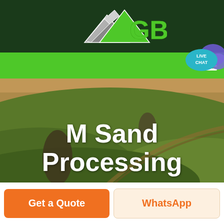[Figure (logo): GBM company logo with mountain/arrow graphic on dark green background, green text 'GBM']
[Figure (screenshot): Green navigation bar with hamburger menu icon on right and Live Chat bubble overlay]
[Figure (photo): Aerial photo of rolling green agricultural fields with two dark tree/rock formations, warm tones]
M Sand Processing
Get a Quote
WhatsApp